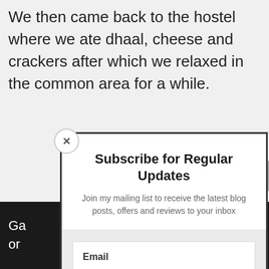We then came back to the hostel where we ate dhaal, cheese and crackers after which we relaxed in the common area for a while.
[Figure (screenshot): Subscribe popup modal with email input and subscribe button on a blog page]
Subscribe for Regular Updates
Join my mailing list to receive the latest blog posts, offers and reviews to your inbox
Email
SUBSCRIBE!